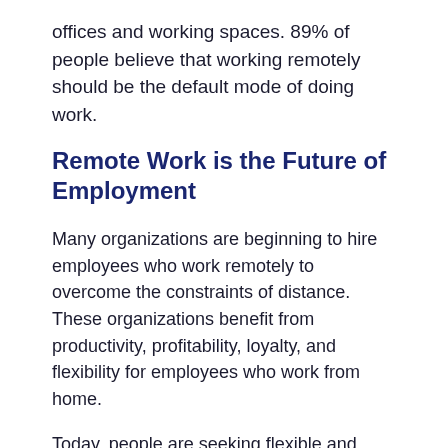offices and working spaces. 89% of people believe that working remotely should be the default mode of doing work.
Remote Work is the Future of Employment
Many organizations are beginning to hire employees who work remotely to overcome the constraints of distance. These organizations benefit from productivity, profitability, loyalty, and flexibility for employees who work from home.
Today, people are seeking flexible and alternative working arrangements more than